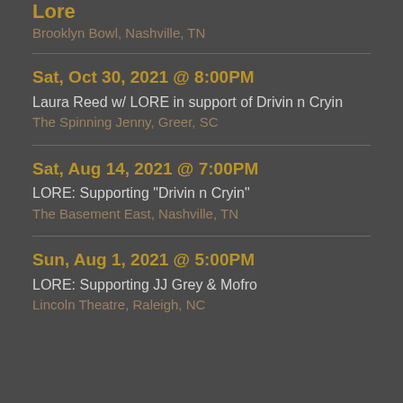Lore
Brooklyn Bowl, Nashville, TN
Sat, Oct 30, 2021 @ 8:00PM
Laura Reed w/ LORE in support of Drivin n Cryin
The Spinning Jenny, Greer, SC
Sat, Aug 14, 2021 @ 7:00PM
LORE: Supporting "Drivin n Cryin"
The Basement East, Nashville, TN
Sun, Aug 1, 2021 @ 5:00PM
LORE: Supporting JJ Grey & Mofro
Lincoln Theatre, Raleigh, NC